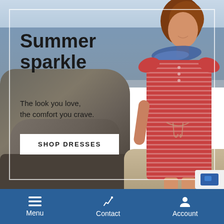[Figure (photo): Woman wearing a red and white striped dress with a blue floral scarf, standing on a rocky beach with ocean in background. Promotional fashion photo for summer dresses.]
Summer sparkle
The look you love, the comfort you crave.
SHOP DRESSES
Menu  Contact  Account